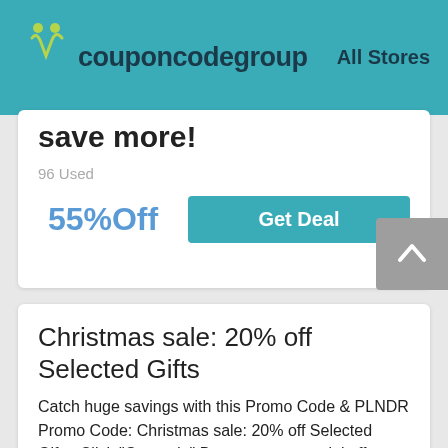couponcodegroup  All Stores
save more!
96 Used
55%Off
Get Deal
Christmas sale: 20% off Selected Gifts
Catch huge savings with this Promo Code & PLNDR Promo Code: Christmas sale: 20% off Selected Gifts. Click "Get code" Button to get special offers. See